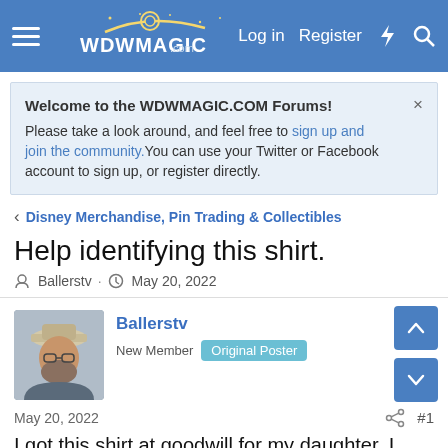WDWMAGIC.COM — Log in  Register
Welcome to the WDWMAGIC.COM Forums! Please take a look around, and feel free to sign up and join the community. You can use your Twitter or Facebook account to sign up, or register directly.
Disney Merchandise, Pin Trading & Collectibles
Help identifying this shirt.
Ballerstv · May 20, 2022
Ballerstv
New Member  Original Poster
May 20, 2022  #1
I got this shirt at goodwill for my daughter. I have scoured the internet and have not found one like it. Just trying to dig up some info on it to add to her collection